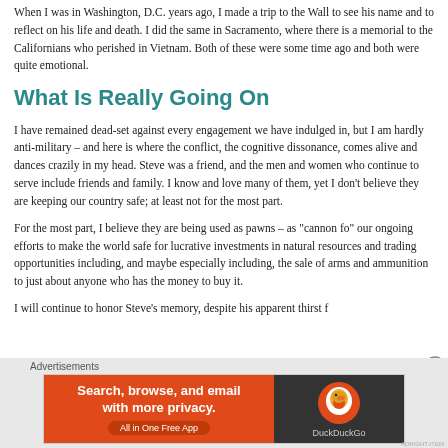When I was in Washington, D.C. years ago, I made a trip to the Wall to see his name and to reflect on his life and death. I did the same in Sacramento, where there is a memorial to the Californians who perished in Vietnam. Both of these were some time ago and both were quite emotional.
What Is Really Going On
I have remained dead-set against every engagement we have indulged in, but I am hardly anti-military – and here is where the conflict, the cognitive dissonance, comes alive and dances crazily in my head. Steve was a friend, and the men and women who continue to serve include friends and family. I know and love many of them, yet I don't believe they are keeping our country safe; at least not for the most part.
For the most part, I believe they are being used as pawns – as "cannon fo" our ongoing efforts to make the world safe for lucrative investments in natural resources and trading opportunities including, and maybe especially including, the sale of arms and ammunition to just about anyone who has the money to buy it.
I will continue to honor Steve's memory, despite his apparent thirst f
Advertisements
[Figure (other): DuckDuckGo advertisement banner: orange left panel with text 'Search, browse, and email with more privacy. All in One Free App' and dark right panel with DuckDuckGo logo]